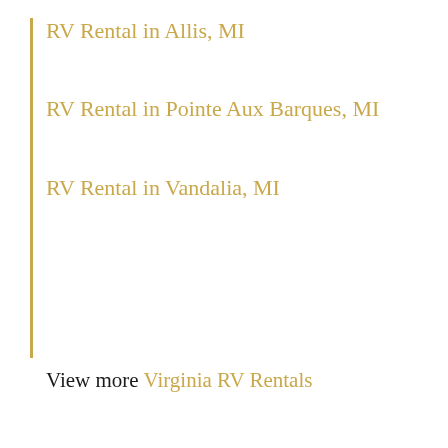RV Rental in Allis, MI
RV Rental in Pointe Aux Barques, MI
RV Rental in Vandalia, MI
View more Virginia RV Rentals
Explore Newport News, Virginia on your RV trip
Map